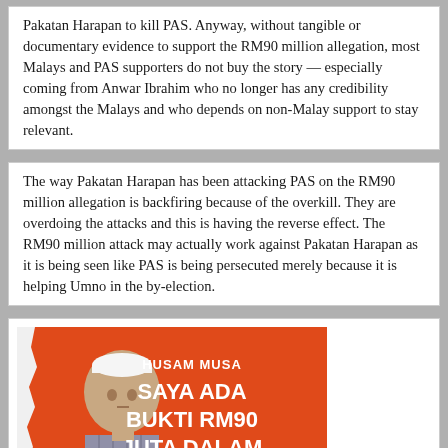Pakatan Harapan to kill PAS. Anyway, without tangible or documentary evidence to support the RM90 million allegation, most Malays and PAS supporters do not buy the story — especially coming from Anwar Ibrahim who no longer has any credibility amongst the Malays and who depends on non-Malay support to stay relevant.
The way Pakatan Harapan has been attacking PAS on the RM90 million allegation is backfiring because of the overkill. They are overdoing the attacks and this is having the reverse effect. The RM90 million attack may actually work against Pakatan Harapan as it is being seen like PAS is being persecuted merely because it is helping Umno in the by-election.
[Figure (illustration): Political poster featuring a man in a striped shirt and white cap on an orange background with text reading 'HUSAM MUSA SAYA ADA BUKTI RM90 JUTA DALAM AKAUN AFFIN BANK']